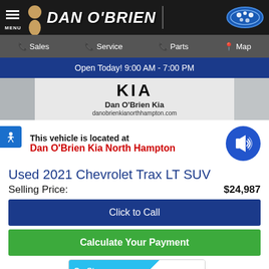DAN O'BRIEN
Sales  Service  Parts  Map
Open Today! 9:00 AM - 7:00 PM
[Figure (other): Dan O'Brien Kia banner with Kia logo and danobrienkianorthhampton.com]
This vehicle is located at Dan O'Brien Kia North Hampton
Used 2021 Chevrolet Trax LT SUV
Selling Price: $24,987
Click to Call
Calculate Your Payment
[Figure (other): CarStory widget — This vehicle is a GOOD DEAL]